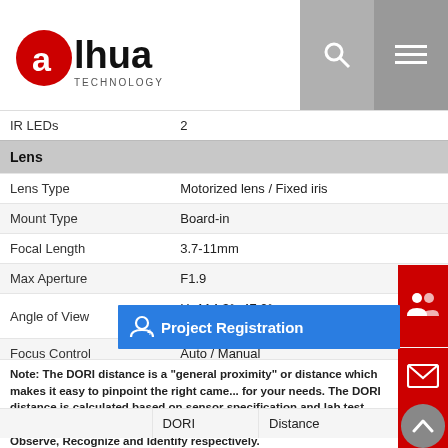[Figure (logo): Dahua Technology logo — red circle with white 'a' and 'alhua' text, 'TECHNOLOGY' below]
| IR LEDs | 2 |
| Lens |  |
| Lens Type | Motorized lens / Fixed iris |
| Mount Type | Board-in |
| Focal Length | 3.7-11mm |
| Max Aperture | F1.9 |
| Angle of View | H: 114.3°~47.2°
V: 61.7°~26.8° |
| Focus Control | Auto / Manual |
| Close Focus Distance | 1500mm
59.06" |
| DORI Distance |  |
Note: The DORI distance is a "general proximity" or distance which makes it easy to pinpoint the right camera for your needs. The DORI distance is calculated based on sensor specification and lab test result according to EN 62676-4 which defines the criteria for Detect, Observe, Recognize and Identify respectively.
|  | DORI | Distance |
| --- | --- | --- |